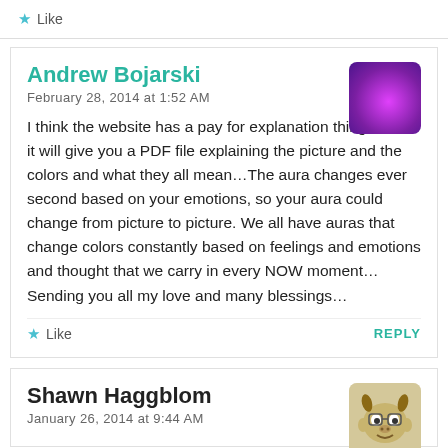★ Like
Andrew Bojarski
February 28, 2014 at 1:52 AM

I think the website has a pay for explanation thing where it will give you a PDF file explaining the picture and the colors and what they all mean…The aura changes ever second based on your emotions, so your aura could change from picture to picture. We all have auras that change colors constantly based on feelings and emotions and thought that we carry in every NOW moment…Sending you all my love and many blessings…
★ Like   REPLY
Shawn Haggblom
January 26, 2014 at 9:44 AM